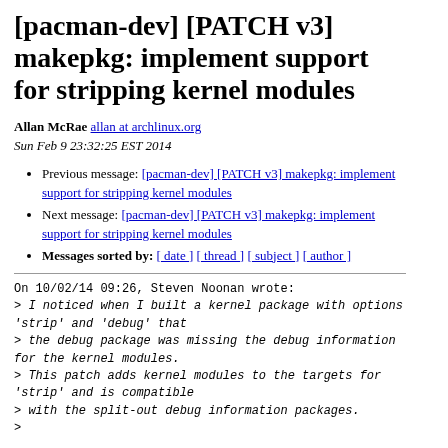[pacman-dev] [PATCH v3] makepkg: implement support for stripping kernel modules
Allan McRae allan at archlinux.org
Sun Feb 9 23:32:25 EST 2014
Previous message: [pacman-dev] [PATCH v3] makepkg: implement support for stripping kernel modules
Next message: [pacman-dev] [PATCH v3] makepkg: implement support for stripping kernel modules
Messages sorted by: [ date ] [ thread ] [ subject ] [ author ]
On 10/02/14 09:26, Steven Noonan wrote:
> I noticed when I built a kernel package with options 'strip' and 'debug' that
> the debug package was missing the debug information for the kernel modules.
> This patch adds kernel modules to the targets for 'strip' and is compatible
> with the split-out debug information packages.
>